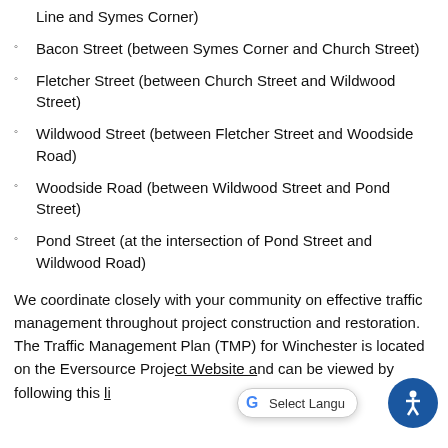Line and Symes Corner)
Bacon Street (between Symes Corner and Church Street)
Fletcher Street (between Church Street and Wildwood Street)
Wildwood Street (between Fletcher Street and Woodside Road)
Woodside Road (between Wildwood Street and Pond Street)
Pond Street (at the intersection of Pond Street and Wildwood Road)
We coordinate closely with your community on effective traffic management throughout project construction and restoration.  The Traffic Management Plan (TMP) for Winchester is located on the Eversource Project Website and can be viewed by following this link.